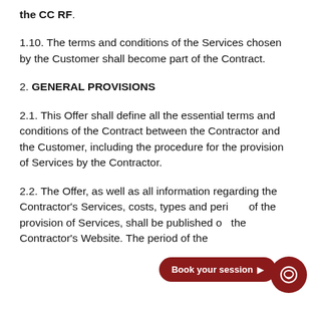the CC RF.
1.10. The terms and conditions of the Services chosen by the Customer shall become part of the Contract.
2. GENERAL PROVISIONS
2.1. This Offer shall define all the essential terms and conditions of the Contract between the Contractor and the Customer, including the procedure for the provision of Services by the Contractor.
2.2. The Offer, as well as all information regarding the Contractor's Services, costs, types and periods of the provision of Services, shall be published on the Contractor's Website. The period of the